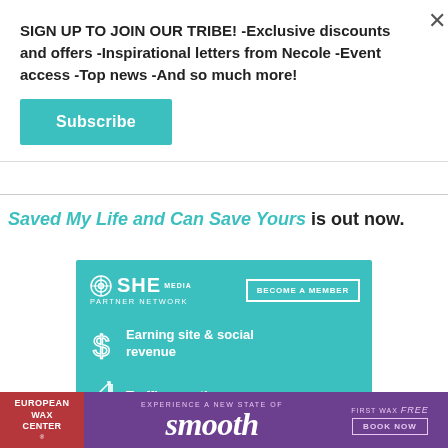SIGN UP TO JOIN OUR TRIBE! -Exclusive discounts and offers -Inspirational letters from Necole -Event access -Top news -And so much more!
Subscribe
Saved My Life and Can Save Yours is out now.
[Figure (infographic): SHE Media Partner Network advertisement with teal background. Shows SHE MEDIA PARTNER NETWORK logo with 'BECOME A MEMBER' button. Features: 'Earning site & social revenue' with dollar sign icon and 'Traffic growth' with bar chart growth icon.]
[Figure (infographic): European Wax Center advertisement on purple background. Shows 'EXPERIENCE A NEW STATE OF smooth' text with 'FIRST WAX free - BOOK NOW' button on right side.]